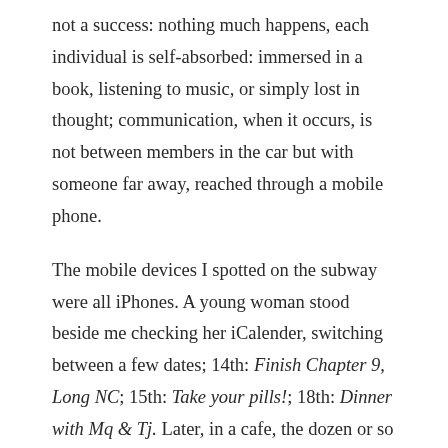not a success: nothing much happens, each individual is self-absorbed: immersed in a book, listening to music, or simply lost in thought; communication, when it occurs, is not between members in the car but with someone far away, reached through a mobile phone.
The mobile devices I spotted on the subway were all iPhones. A young woman stood beside me checking her iCalender, switching between a few dates; 14th: Finish Chapter 9, Long NC; 15th: Take your pills!; 18th: Dinner with Mq & Tj. Later, in a cafe, the dozen or so tables were occupied by men and women peering into a screen in front; all those laptops bore the Apple logo, and a bluish tinge in the eyes of many suggested a Facebook page. A master-slave relationship was evident; humans seemed to have surrendered, unconsciously, to